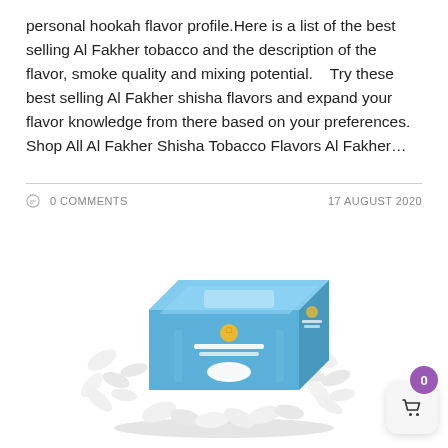personal hookah flavor profile.Here is a list of the best selling Al Fakher tobacco and the description of the flavor, smoke quality and mixing potential.    Try these best selling Al Fakher shisha flavors and expand your flavor knowledge from there based on your preferences. Shop All Al Fakher Shisha Tobacco Flavors Al Fakher…
0 COMMENTS
17 AUGUST 2020
[Figure (photo): Al Fakher product box (blue packaging with Arabic text) surrounded by white hookah tobacco pieces]